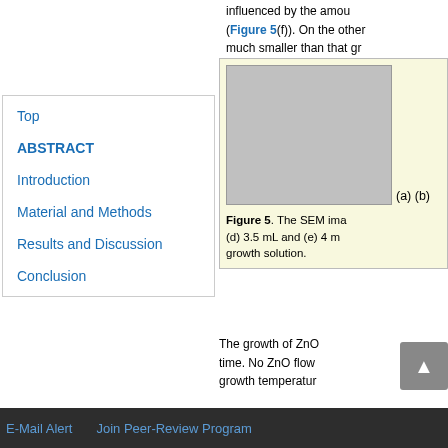influenced by the amoun (Figure 5(f)). On the other much smaller than that gr
Top
ABSTRACT
Introduction
Material and Methods
Results and Discussion
Conclusion
[Figure (photo): SEM image panel showing ZnO growth; partial view with image placeholder and label (a) (b)]
Figure 5. The SEM ima (d) 3.5 mL and (e) 4 m growth solution.
The growth of ZnO time. No ZnO flow growth temperatur
E-Mail Alert   Join Peer-Review Program